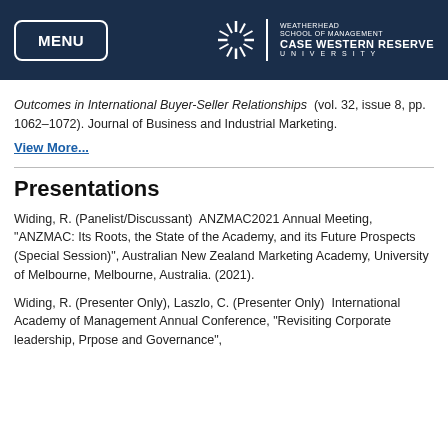MENU | WEATHERHEAD SCHOOL OF MANAGEMENT CASE WESTERN RESERVE UNIVERSITY
Outcomes in International Buyer-Seller Relationships (vol. 32, issue 8, pp. 1062-1072). Journal of Business and Industrial Marketing.
View More...
Presentations
Widing, R. (Panelist/Discussant)  ANZMAC2021 Annual Meeting, "ANZMAC: Its Roots, the State of the Academy, and its Future Prospects (Special Session)", Australian New Zealand Marketing Academy, University of Melbourne, Melbourne, Australia. (2021).
Widing, R. (Presenter Only), Laszlo, C. (Presenter Only)  International Academy of Management Annual Conference, "Revisiting Corporate leadership, Prpose and Governance", IEDC Bled School of Management, Ble...